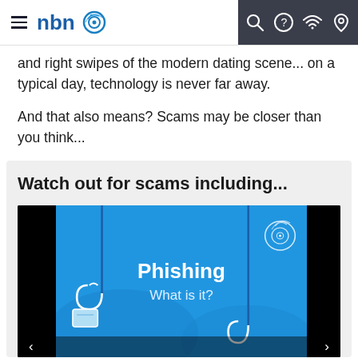nbn navigation bar with hamburger menu, nbn logo, search, help, wifi, and location icons
and right swipes of the modern dating scene... on a typical day, technology is never far away.
And that also means? Scams may be closer than you think...
[Figure (infographic): Info box titled 'Watch out for scams including...' containing a video thumbnail showing a Phishing infographic on a blue background with fishing hooks illustration and nbn logo watermark. Text reads 'Phishing - What is it?']